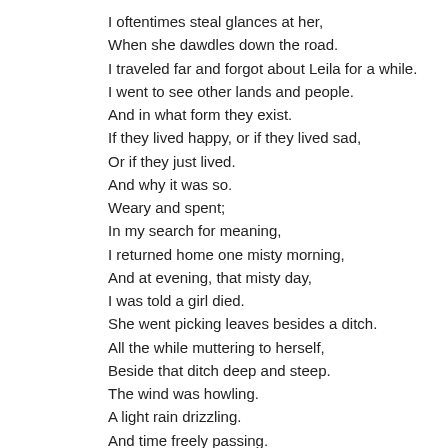I oftentimes steal glances at her,
When she dawdles down the road.
I traveled far and forgot about Leila for a while.
I went to see other lands and people.
And in what form they exist.
If they lived happy, or if they lived sad,
Or if they just lived.
And why it was so.
Weary and spent;
In my search for meaning,
I returned home one misty morning,
And at evening, that misty day,
I was told a girl died.
She went picking leaves besides a ditch.
All the while muttering to herself,
Beside that ditch deep and steep.
The wind was howling.
A light rain drizzling.
And time freely passing.
Until a passerby glimpsed human legs.